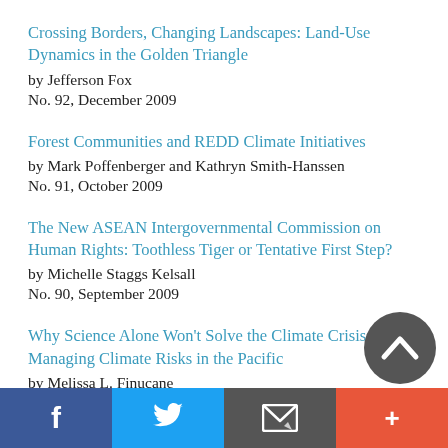Crossing Borders, Changing Landscapes: Land-Use Dynamics in the Golden Triangle
by Jefferson Fox
No. 92, December 2009
Forest Communities and REDD Climate Initiatives
by Mark Poffenberger and Kathryn Smith-Hanssen
No. 91, October 2009
The New ASEAN Intergovernmental Commission on Human Rights: Toothless Tiger or Tentative First Step?
by Michelle Staggs Kelsall
No. 90, September 2009
Why Science Alone Won't Solve the Climate Crisis: Managing Climate Risks in the Pacific
by Melissa L. Finucane
No. 89, August 2009